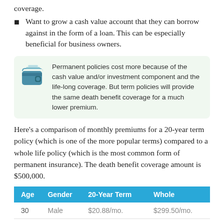coverage.
Want to grow a cash value account that they can borrow against in the form of a loan. This can be especially beneficial for business owners.
Permanent policies cost more because of the cash value and/or investment component and the life-long coverage. But term policies will provide the same death benefit coverage for a much lower premium.
Here's a comparison of monthly premiums for a 20-year term policy (which is one of the more popular terms) compared to a whole life policy (which is the most common form of permanent insurance). The death benefit coverage amount is $500,000.
| Age | Gender | 20-Year Term | Whole |
| --- | --- | --- | --- |
| 30 | Male | $20.88/mo. | $299.50/mo. |